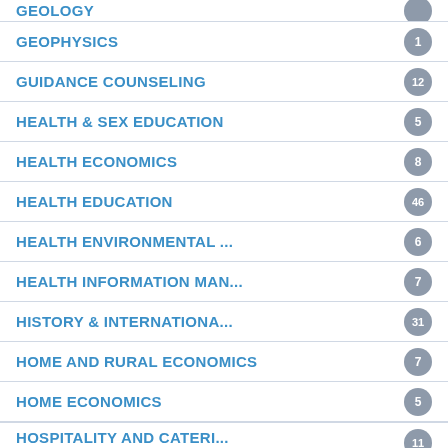GEOLOGY
GEOPHYSICS — 1
GUIDANCE COUNSELING — 12
HEALTH & SEX EDUCATION — 5
HEALTH ECONOMICS — 8
HEALTH EDUCATION — 46
HEALTH ENVIRONMENTAL ... — 6
HEALTH INFORMATION MAN... — 7
HISTORY & INTERNATIONA... — 31
HOME AND RURAL ECONOMICS — 7
HOME ECONOMICS — 5
HOSPITALITY AND CATERI... — 11